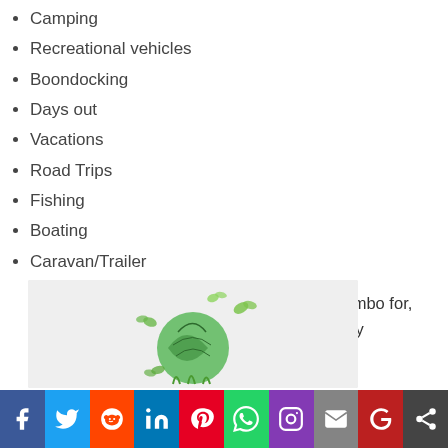Camping
Recreational vehicles
Boondocking
Days out
Vacations
Road Trips
Fishing
Boating
Caravan/Trailer
To name just a few, whatever you use the combo for, it will save you money and be environmentally friendly.
[Figure (illustration): Green eco globe with butterflies illustration on light grey background]
[Figure (infographic): Social media share bar with Facebook, Twitter, Reddit, LinkedIn, Pinterest, WhatsApp, Instagram, Email, Google, and Share buttons]